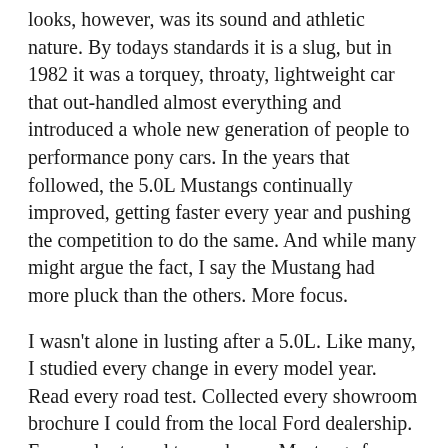looks, however, was its sound and athletic nature. By todays standards it is a slug, but in 1982 it was a torquey, throaty, lightweight car that out-handled almost everything and introduced a whole new generation of people to performance pony cars. In the years that followed, the 5.0L Mustangs continually improved, getting faster every year and pushing the competition to do the same. And while many might argue the fact, I say the Mustang had more pluck than the others. More focus.
I wasn't alone in lusting after a 5.0L. Like many, I studied every change in every model year. Read every road test. Collected every showroom brochure I could from the local Ford dealership. Even volunteered to wash new Mustangs for free when a truckload would come in. Most memorable of the bunch was the 1984 G.T. 350 edition, which offered no more performance, but, G.T. 350! As time went on and the 5.0L Mustangs only got better and faster, the aspirational aspect of it all only grew stronger every year. These weren't exotic cars;